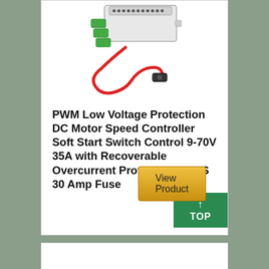[Figure (photo): Product photo of a PWM DC motor speed controller with red fuse wire and green connectors, shown on white background]
PWM Low Voltage Protection DC Motor Speed Controller Soft Start Switch Control 9-70V 35A with Recoverable Overcurrent Protection,3 PCS 30 Amp Fuse
View Product
TOP